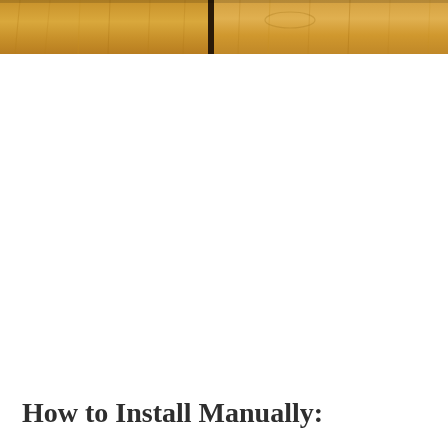[Figure (photo): Close-up photo of wooden planks or flooring viewed from above, showing natural wood grain and texture. The image is cropped to show the top portion of the page.]
How to Install Manually: